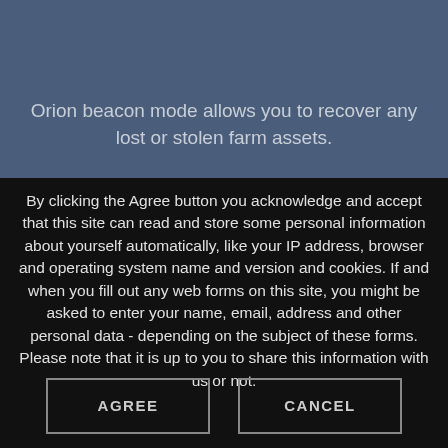Orion beacon mode allows you to recover any lost or stolen farm assets.
By clicking the Agree button you acknowledge and accept that this site can read and store some personal information about yourself automatically, like your IP address, browser and operating system name and version and cookies. If and when you fill out any web forms on this site, you might be asked to enter your name, email, address and other personal data - depending on the subject of these forms. Please note that it is up to you to share this information with us or not.
AGREE
CANCEL